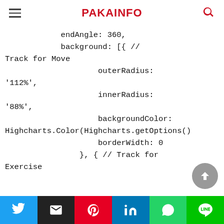PAKAINFO
endAngle: 360,
                background: [{ // Track for Move
                        outerRadius: '112%',
                        innerRadius: '88%',
                        backgroundColor: Highcharts.Color(Highcharts.getOptions()
                        borderWidth: 0
                    }, { // Track for Exercise
Twitter Email Pinterest LinkedIn WhatsApp Line